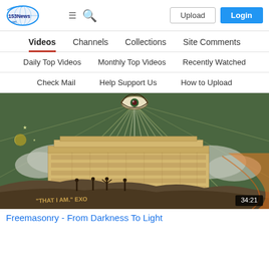153News.net — Upload | Login
Videos | Channels | Collections | Site Comments
Daily Top Videos | Monthly Top Videos | Recently Watched
Check Mail | Help Support Us | How to Upload
[Figure (screenshot): Video thumbnail showing Masonic/esoteric artwork with the all-seeing eye above a large building, with figures below and text 'THAT I AM EXO' at the bottom. Duration badge shows 34:21.]
Freemasonry - From Darkness To Light